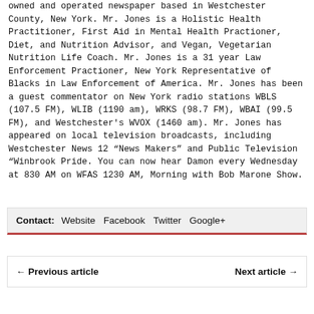owned and operated newspaper based in Westchester County, New York. Mr. Jones is a Holistic Health Practitioner, First Aid in Mental Health Practioner, Diet, and Nutrition Advisor, and Vegan, Vegetarian Nutrition Life Coach. Mr. Jones is a 31 year Law Enforcement Practioner, New York Representative of Blacks in Law Enforcement of America. Mr. Jones has been a guest commentator on New York radio stations WBLS (107.5 FM), WLIB (1190 am), WRKS (98.7 FM), WBAI (99.5 FM), and Westchester's WVOX (1460 am). Mr. Jones has appeared on local television broadcasts, including Westchester News 12 “News Makers” and Public Television “Winbrook Pride. You can now hear Damon every Wednesday at 830 AM on WFAS 1230 AM, Morning with Bob Marone Show.
Contact:  Website  Facebook  Twitter  Google+
← Previous article    Next article →